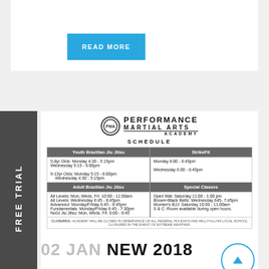READ MORE
[Figure (screenshot): Performance Martial Arts Academy schedule card showing Youth Brazilian Jiu Jitsu, StrikeFit, Adult Brazilian Jiu Jitsu, and Special Classes timetable]
FREE TRIAL
02 JAN NEW 2018